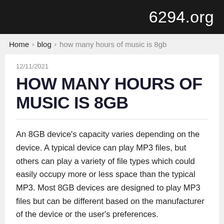6294.org
Home › blog › how many hours of music is 8gb
12/11/2021
HOW MANY HOURS OF MUSIC IS 8GB
An 8GB device's capacity varies depending on the device. A typical device can play MP3 files, but others can play a variety of file types which could easily occupy more or less space than the typical MP3. Most 8GB devices are designed to play MP3 files but can be different based on the manufacturer of the device or the user's preferences.